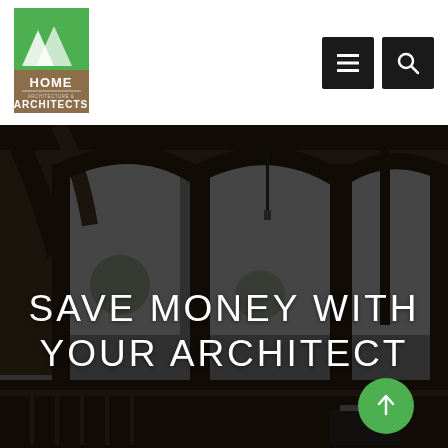[Figure (logo): Home Architects logo with green roof shape over brown house silhouette and mountain shapes, with text HOME ARCHITECTS]
[Figure (screenshot): Navigation bar icons: hamburger menu icon and search icon, both on dark square backgrounds]
[Figure (photo): Dark interior architectural photo showing timber frame construction with heavy wooden beams, posts, and arched openings; outdoor view visible through windows]
SAVE MONEY WITH YOUR ARCHITECT
[Figure (other): Green circular scroll-to-top button with white upward arrow]